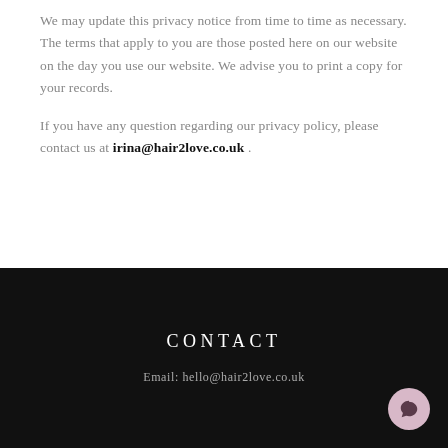We may update this privacy notice from time to time as necessary. The terms that apply to you are those posted here on our website on the day you use our website. We advise you to print a copy for your records.
If you have any question regarding our privacy policy, please contact us at irina@hair2love.co.uk .
CONTACT
Email: hello@hair2love.co.uk